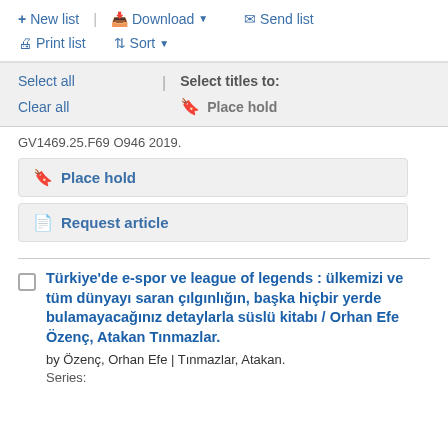+ New list | Download ▾ ✉ Send list
🖨 Print list ⇅ Sort ▾
Select all | Select titles to:
Clear all 🔖 Place hold
GV1469.25.F69 O946 2019.
🔖 Place hold
📄 Request article
Türkiye'de e-spor ve league of legends : ülkemizi ve tüm dünyayı saran çılgınlığın, başka hiçbir yerde bulamayacağınız detaylarla süslü kitabı / Orhan Efe Özenç, Atakan Tınmazlar.
by Özenç, Orhan Efe | Tınmazlar, Atakan.
Series: